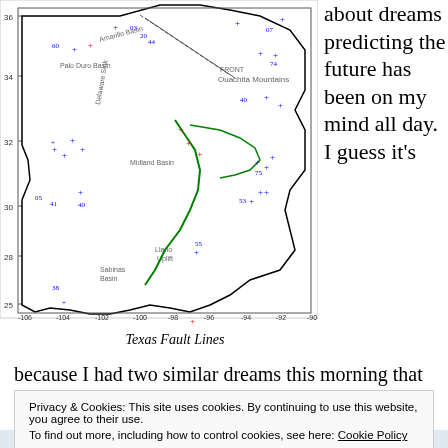[Figure (map): Map of Texas showing fault lines with colored crosses (blue, red, green) marking seismic activity locations. The map shows latitude around 25-36 and longitude from -106 to -90. Labels include Amarillo Basin, Palo Duro Basin, Midland Basin, FRONT, Ouachita Mountains, and various geographic features. Multiple fault lines drawn in green and black lines.]
Texas Fault Lines
about dreams predicting the future has been on my mind all day.  I guess it's
because I had two similar dreams this morning that
Privacy & Cookies: This site uses cookies. By continuing to use this website, you agree to their use.
To find out more, including how to control cookies, see here: Cookie Policy
Close and accept